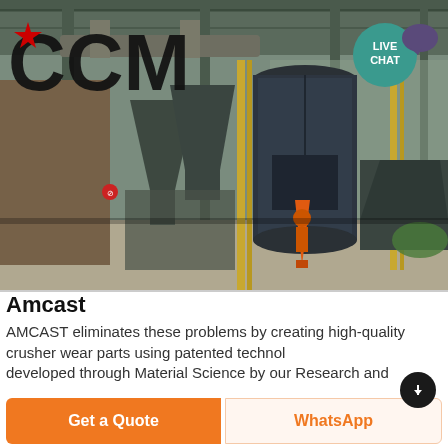[Figure (photo): Industrial factory interior with large cylindrical mill equipment, metal silos, steel structural beams, yellow support columns, and a worker in orange visible in the background. CCM logo with red star overlaid in top-left corner. LIVE CHAT badge in top-right corner.]
Amcast
AMCAST eliminates these problems by creating high-quality crusher wear parts using patented technology developed through Material Science by our Research and
Get a Quote
WhatsApp